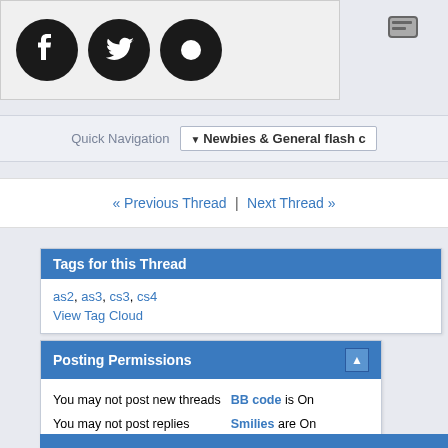[Figure (logo): Social media icons: Facebook, Twitter, and a black circle icon]
Quick Navigation  ▼ Newbies & General flash c
« Previous Thread | Next Thread »
Tags for this Thread
as2, as3, cs3, cs4
View Tag Cloud
Posting Permissions
You may not post new threads
You may not post replies
You may not post attachments
You may not edit your posts
BB code is On
Smilies are On
[IMG] code is On
[VIDEO] code is On
HTML code is Off
Forum Rules